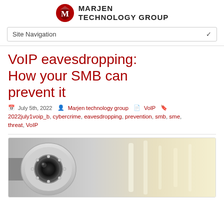MARJEN TECHNOLOGY GROUP
Site Navigation
VoIP eavesdropping: How your SMB can prevent it
July 5th, 2022  Marjen technology group  VoIP  2022july1voip_b, cybercrime, eavesdropping, prevention, smb, sme, threat, VoIP
[Figure (photo): Close-up photo of a security/surveillance camera (white dome camera) with blurred light background]